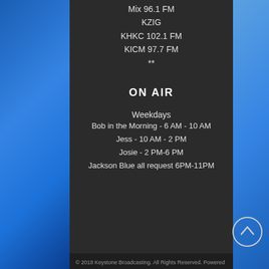Mix 96.1 FM
KZIG
KHKC 102.1 FM
KICM 97.7 FM
**
ON AIR
Weekdays
Bob in the Morning - 6 AM - 10 AM
Jess - 10 AM - 2 PM
Josie - 2 PM-6 PM
Jackson Blue all request 6PM-11PM
© 2018 Keystone Broadcasting. All Rights Reserved. Powered